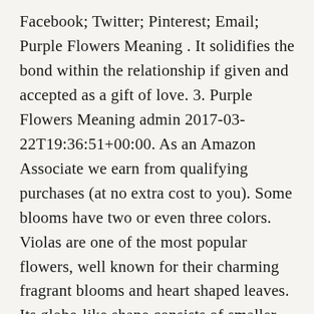Facebook; Twitter; Pinterest; Email; Purple Flowers Meaning . It solidifies the bond within the relationship if given and accepted as a gift of love. 3. Purple Flowers Meaning admin 2017-03-22T19:36:51+00:00. As an Amazon Associate we earn from qualifying purchases (at no extra cost to you). Some blooms have two or even three colors. Violas are one of the most popular flowers, well known for their charming fragrant blooms and heart shaped leaves. Its globe-like shape consists of smaller flowers that range from blue to violet. Stock Photos from nnattalli/Shutterstock. They're the perfect tattoo idea, and each month has one, January through